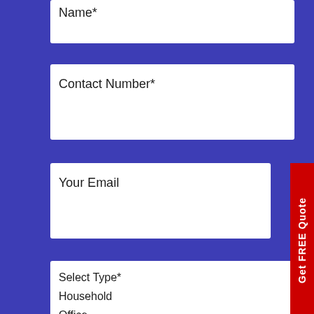Name*
Contact Number*
Your Email
Select Type*
Household
Office
Two-Wheeler
Four-Wheeler
dd/yyyy
up From*
[Figure (other): Orange circular phone/call icon with wifi signal waves]
[Figure (other): Green circular WhatsApp icon]
Get FREE Quote